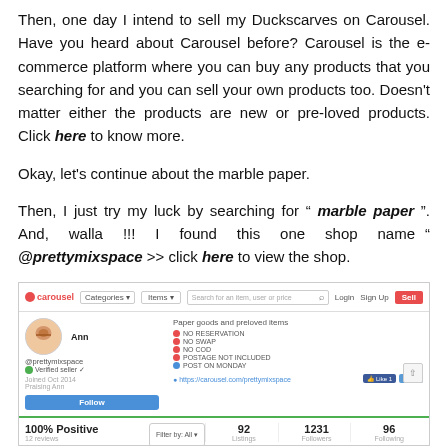Then, one day I intend to sell my Duckscarves on Carousel. Have you heard about Carousel before? Carousel is the e-commerce platform where you can buy any products that you searching for and you can sell your own products too. Doesn't matter either the products are new or pre-loved products. Click here to know more.
Okay, let's continue about the marble paper.
Then, I just try my luck by searching for " marble paper ". And, walla !!! I found this one shop name " @prettymixspace >> click here to view the shop.
[Figure (screenshot): Screenshot of the Carousel e-commerce platform showing the prettymixspace shop profile page with follower stats, policies, and 100% positive rating.]